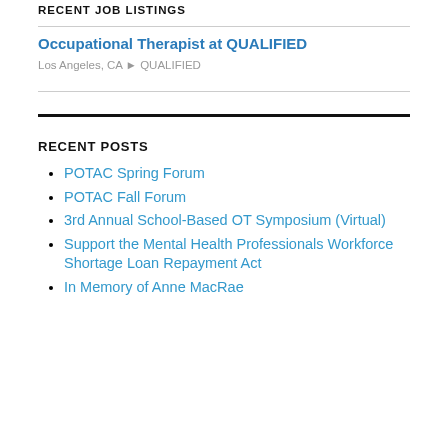RECENT JOB LISTINGS
Occupational Therapist at QUALIFIED
Los Angeles, CA ▸ QUALIFIED
RECENT POSTS
POTAC Spring Forum
POTAC Fall Forum
3rd Annual School-Based OT Symposium (Virtual)
Support the Mental Health Professionals Workforce Shortage Loan Repayment Act
In Memory of Anne MacRae